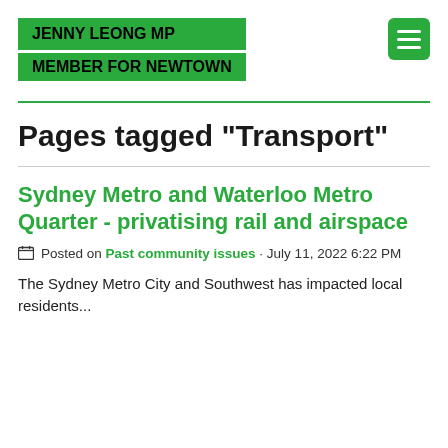JENNY LEONG MP MEMBER FOR NEWTOWN
Pages tagged "Transport"
Sydney Metro and Waterloo Metro Quarter - privatising rail and airspace
Posted on Past community issues · July 11, 2022 6:22 PM
The Sydney Metro City and Southwest has impacted local residents...